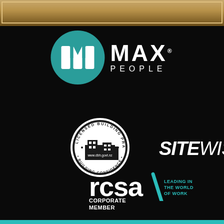[Figure (logo): Top decorative golden/bronze bar with frame border]
[Figure (logo): MAX PEOPLE logo - teal circle with M icon and MAX PEOPLE text in white]
[Figure (logo): Licensed Building Practitioner circular badge - www.dbh.govt.nz - Building Confidence]
[Figure (logo): SiteWise logo in bold italic white text]
[Figure (logo): RCSA leading in the world of work logo with blue slash]
CORPORATE
MEMBER
[Figure (other): Teal bottom bar]